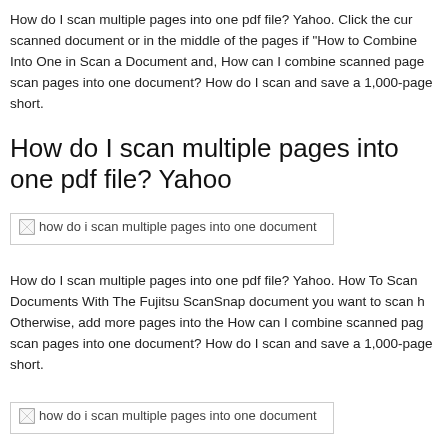How do I scan multiple pages into one pdf file? Yahoo. Click the cur scanned document or in the middle of the pages if "How to Combine Into One in Scan a Document and, How can I combine scanned page scan pages into one document? How do I scan and save a 1,000-page short.
How do I scan multiple pages into one pdf file? Yahoo
[Figure (other): Broken image placeholder with alt text: how do i scan multiple pages into one document]
How do I scan multiple pages into one pdf file? Yahoo. How To Scan Documents With The Fujitsu ScanSnap document you want to scan h Otherwise, add more pages into the How can I combine scanned pag scan pages into one document? How do I scan and save a 1,000-page short.
[Figure (other): Broken image placeholder with alt text: how do i scan multiple pages into one document]